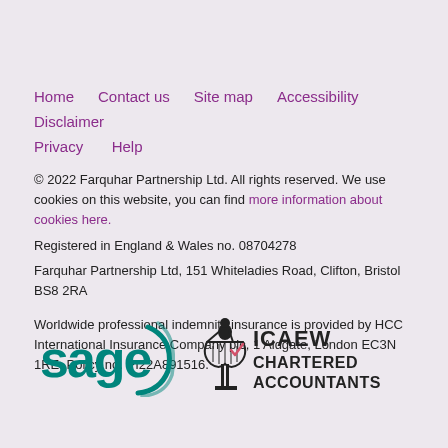Home  Contact us  Site map  Accessibility  Disclaimer  Privacy  Help
© 2022 Farquhar Partnership Ltd. All rights reserved. We use cookies on this website, you can find more information about cookies here.
Registered in England & Wales no. 08704278
Farquhar Partnership Ltd, 151 Whiteladies Road, Clifton, Bristol BS8 2RA

Worldwide professional indemnity insurance is provided by HCC International Insurance Company plc, 1 Aldgate, London EC3N 1RE. Policy no. PI22A891516.
[Figure (logo): Sage logo (green swirling text) and ICAEW Chartered Accountants logo (figure with lyre and bold text)]